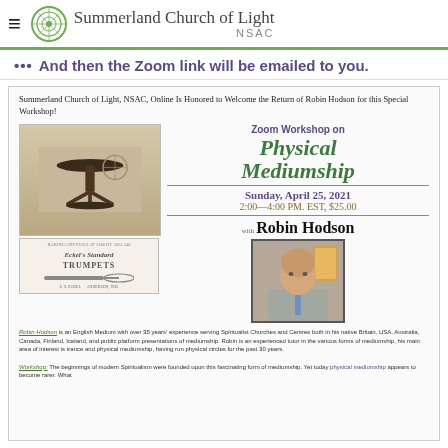Summerland Church of Light NSAC
••• And then the Zoom link will be emailed to you.
Summerland Church of Light, NSAC, Online Is Honored to Welcome the Return of Robin Hodson for this Special Workshop!
[Figure (illustration): Vintage illustration of a round pedestal table with ornate room background, and below it an advertisement for Eckel's Standard Trumpets by E.S. Eckel, Anderson, Ind.]
Zoom Workshop on Physical Mediumship
Sunday, April 25, 2021
2:00–4:00 PM. EST, $25.00
with Robin Hodson
[Figure (photo): Portrait photo of Robin Hodson, a bald man in a grey blazer and blue tie, standing in front of artwork.]
Robin Hodson is an English Medium with over 35 years' experience serving Spiritualist Churches and Centres both in his native Britain, USA, Australia, Canada, Finland, Iceland, and public platform presentations of mediumship. Robin is an experienced tutor in the various forms of mediumship, his main area of interest is trance and physical mediumship, having run physical circles for the past 30 years.
Workshop: The beginnings of modern Spiritualism were founded upon this fascinating form of mediumship. Yet today physical mediumship appears to become rarer. What